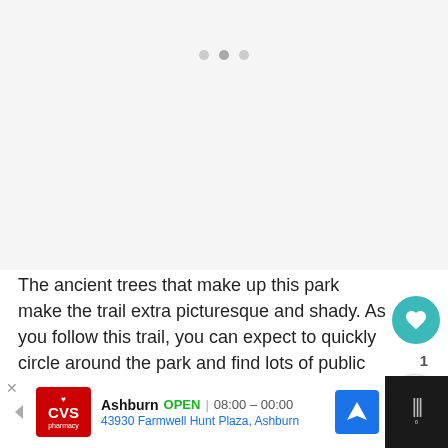[Figure (photo): Blank/loading image area with three dot pagination indicators at top]
The ancient trees that make up this park make the trail extra picturesque and shady. As you follow this trail, you can expect to quickly circle around the park and find lots of public picnic tables.
[Figure (infographic): Floating action buttons: teal heart/favorite button with count 1, and share button]
[Figure (infographic): Bottom advertisement bar for CVS Pharmacy in Ashburn, OPEN 08:00-00:00, 43930 Farmwell Hunt Plaza, Ashburn]